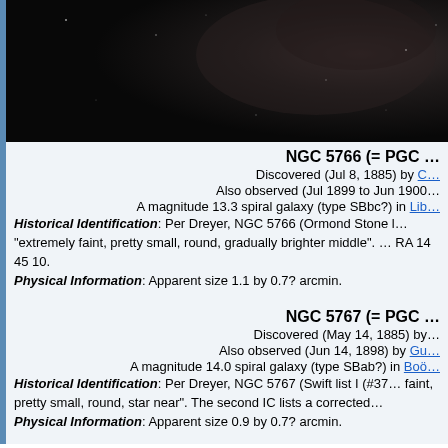[Figure (photo): Astronomical photograph showing a dark field with faint galaxy or nebula, dark background with slight gradient.]
NGC 5766 (= PGC …
Discovered (Jul 8, 1885) by C…
Also observed (Jul 1899 to Jun 1900…
A magnitude 13.3 spiral galaxy (type SBbc?) in Lib…
Historical Identification: Per Dreyer, NGC 5766 (Ormond Stone l… "extremely faint, pretty small, round, gradually brighter middle". … RA 14 45 10.
Physical Information: Apparent size 1.1 by 0.7? arcmin.
NGC 5767 (= PGC …
Discovered (May 14, 1885) by…
Also observed (Jun 14, 1898) by Gu…
A magnitude 14.0 spiral galaxy (type SBab?) in Boö…
Historical Identification: Per Dreyer, NGC 5767 (Swift list I (#37… faint, pretty small, round, star near". The second IC lists a corrected…
Physical Information: Apparent size 0.9 by 0.7? arcmin.